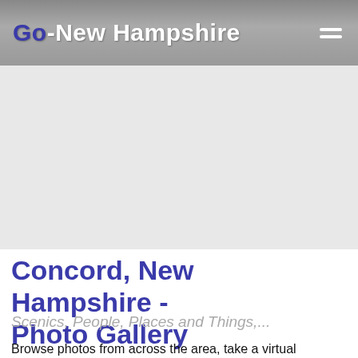Go-New Hampshire
[Figure (other): Advertisement / gray placeholder area]
Concord, New Hampshire - Photo Gallery
Scenics, People, Places and Things,...
Browse photos from across the area, take a virtual